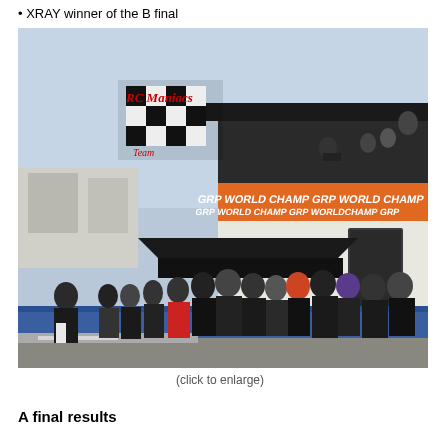XRAY winner of the B final
[Figure (photo): Outdoor RC racing venue with a grandstand/control tower featuring orange GRP World Champ branding banners. A crowd of spectators stands along a blue barrier at the pit lane. A person waves a checkered flag with RC Maniac logo in the upper left corner.]
(click to enlarge)
A final results